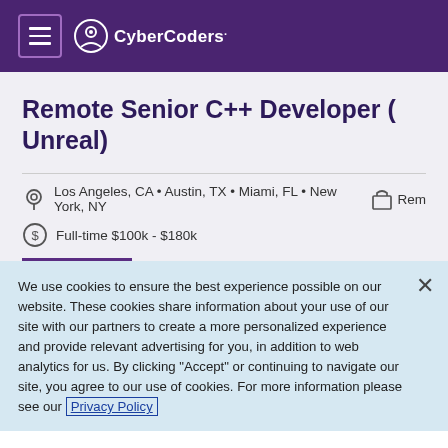CyberCoders
Remote Senior C++ Developer ( Unreal)
Los Angeles, CA • Austin, TX • Miami, FL • New York, NY   Rem
Full-time $100k - $180k
We use cookies to ensure the best experience possible on our website. These cookies share information about your use of our site with our partners to create a more personalized experience and provide relevant advertising for you, in addition to web analytics for us. By clicking "Accept" or continuing to navigate our site, you agree to our use of cookies. For more information please see our Privacy Policy